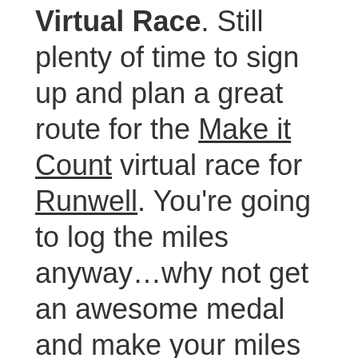Virtual Race. Still plenty of time to sign up and plan a great route for the Make it Count virtual race for Runwell. You're going to log the miles anyway…why not get an awesome medal and make your miles count!
Getting close to the weekend again…who's racing? Who's got long runs planned? Let us know so we can cheer you on!